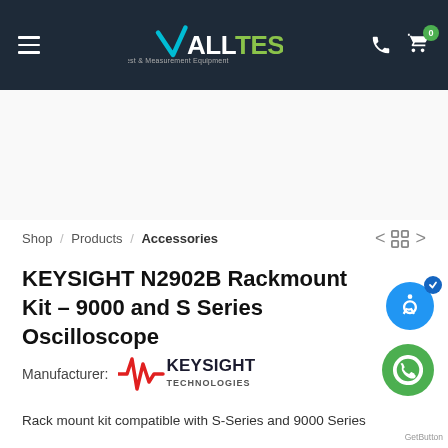ALLTEST Test & Measurement Equipment
Shop / Products / Accessories
KEYSIGHT N2902B Rackmount Kit – 9000 and S Series Oscilloscope
Manufacturer: KEYSIGHT TECHNOLOGIES
Rack mount kit compatible with S-Series and 9000 Series